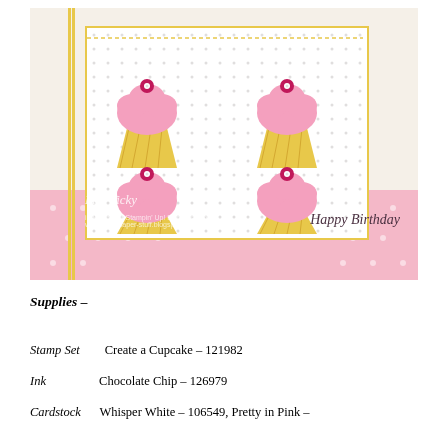[Figure (photo): A handmade birthday card featuring four pink and yellow cupcake decorations arranged in a 2x2 grid on a white embossed panel with a pink polka dot background. The card reads 'Happy Birthday' in cursive script. Watermark text reads 'Mia Vicky' with blog/contact info.]
Supplies –
Stamp Set    Create a Cupcake – 121982
Ink    Chocolate Chip – 126979
Cardstock    Whisper White – 106549, Pretty in Pink –